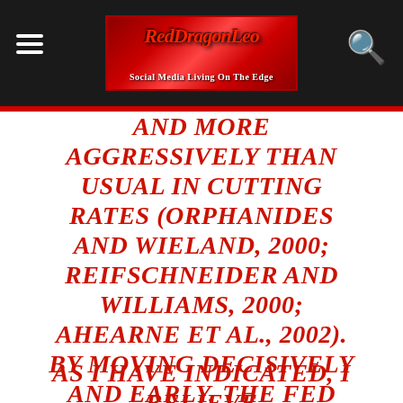RedDragonLeo — Social Media Living On The Edge
AND MORE AGGRESSIVELY THAN USUAL IN CUTTING RATES (ORPHANIDES AND WIELAND, 2000; REIFSCHNEIDER AND WILLIAMS, 2000; AHEARNE ET AL., 2002). BY MOVING DECISIVELY AND EARLY, THE FED MAY BE ABLE TO PREVENT THE ECONOMY FROM SLIPPING INTO DEFLATION, WITH THE SPECIAL PROBLEMS THAT ENTAILS.
AS I HAVE INDICATED, I BELIEVE